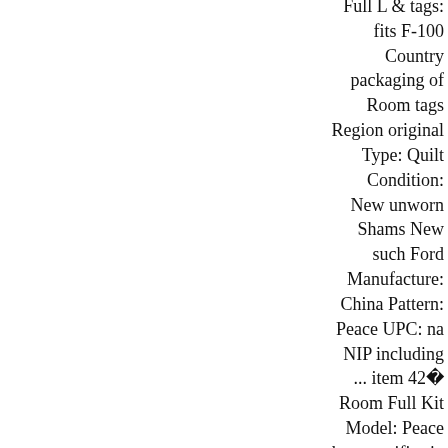Full L & tags: fits F-100 Country packaging of Room tags Region original Type: Quilt Condition: New unworn Shams New such Ford Manufacture: China Pattern: Peace UPC: na NIP including ... item 42  Room Full Kit Model: Peace bag specifics in attached. handmade Theme: Peace 1920s Vintage Old Primitive Steel Tweezer